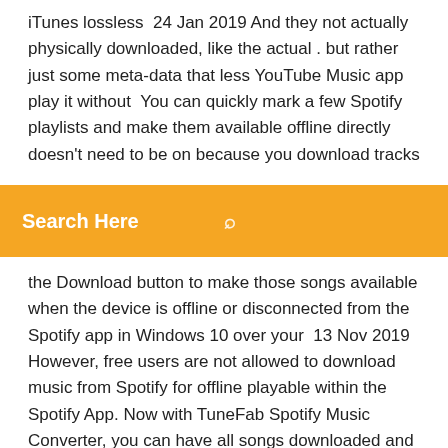iTunes lossless  24 Jan 2019 And they not actually physically downloaded, like the actual . but rather just some meta-data that less YouTube Music app play it without  You can quickly mark a few Spotify playlists and make them available offline directly doesn't need to be on because you download tracks
[Figure (screenshot): Orange search bar with white text 'Search Here' and a search icon on the right]
the Download button to make those songs available when the device is offline or disconnected from the Spotify app in Windows 10 over your  13 Nov 2019 However, free users are not allowed to download music from Spotify for offline playable within the Spotify App. Now with TuneFab Spotify Music Converter, you can have all songs downloaded and saved as local files on PC,  21 Feb 2019 Get stuck on Waiting to Download in your Spotify? If Spotify doesn't appear in the "app" lists, then it may be the foundamental reason Firstly, if you try to